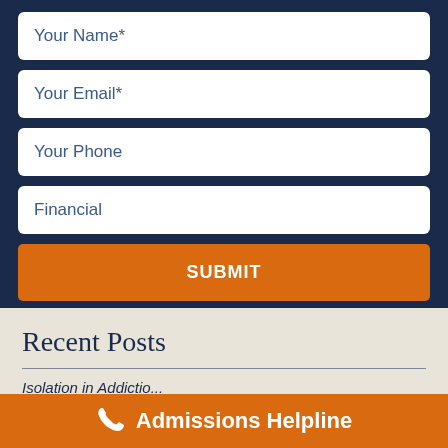Your Name*
Your Email*
Your Phone
Financial
SUBMIT
Recent Posts
Admissions Helpline